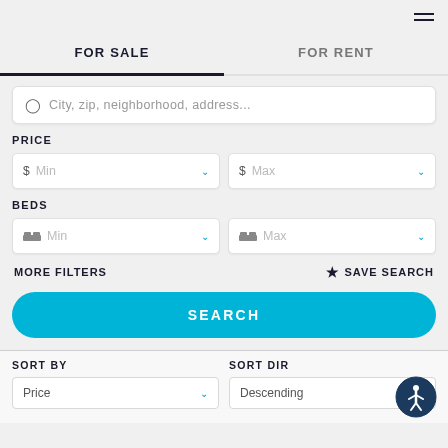FOR SALE | FOR RENT (tab navigation)
City, zip, neighborhood, address...
PRICE
$ Min
$ Max
BEDS
Min
Max
MORE FILTERS
SAVE SEARCH
SEARCH
SORT BY
SORT DIR
Price
Descending